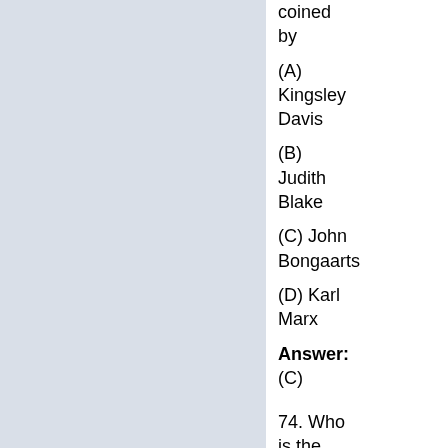coined by
(A) Kingsley Davis
(B) Judith Blake
(C) John Bongaarts
(D) Karl Marx
Answer: (C)
74. Who is the author of the book entitled